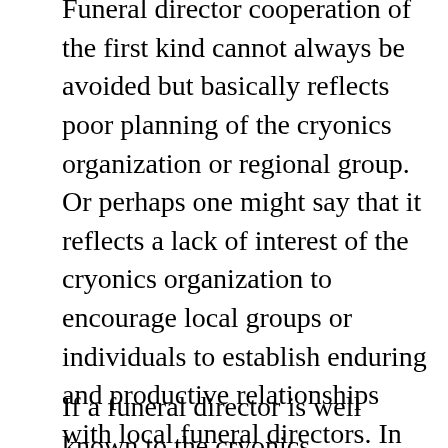Funeral director cooperation of the first kind cannot always be avoided but basically reflects poor planning of the cryonics organization or regional group. Or perhaps one might say that it reflects a lack of interest of the cryonics organization to encourage local groups or individuals to establish enduring and productive relationships with local funeral directors. In cases of ad-hoc or sporadic contact, a funeral director cannot be expected to correctly comply with any kind of cryonics logistical or shipping procedures unfamiliar to him. This is not a fault of the funeral director; it is simply unrealistic for a new funeral home to properly educate themselves about cryonics procedures and shipping instructions. Such circumstances call for detailed documentation, good communication, and having (local) people onsite to ensure compliance with cryonics organization directions.
If a funeral director is well known to the cryonics organization, such requirements can be somewhat relaxed